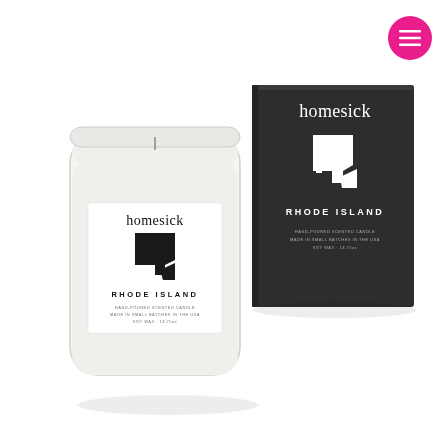[Figure (photo): Product photo of a Homesick Rhode Island scented candle in a clear glass jar with a white label showing the brand name 'homesick', a silhouette of Rhode Island state, and text 'RHODE ISLAND'. Next to the candle is a dark charcoal/black square box with 'homesick' in white text, a white Rhode Island state silhouette, and 'RHODE ISLAND' text. Both are on a white background.]
[Figure (logo): Pink/magenta circular hamburger menu icon (three white horizontal lines) in the top right corner.]